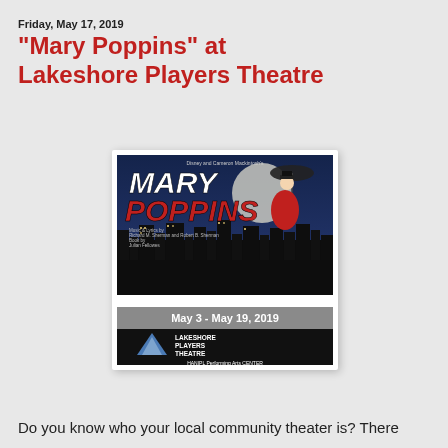Friday, May 17, 2019
"Mary Poppins" at Lakeshore Players Theatre
[Figure (photo): Mary Poppins theatrical poster showing Mary Poppins floating with an umbrella over a city skyline, with the text 'MARY POPPINS', 'May 3 - May 19, 2019', and Lakeshore Players Theatre logo]
Do you know who your local community theater is? There